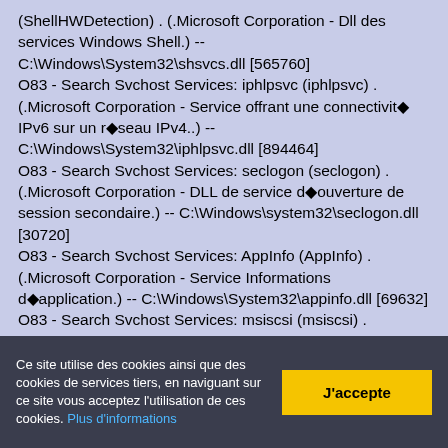(ShellHWDetection) . (.Microsoft Corporation - Dll des services Windows Shell.) -- C:\Windows\System32\shsvcs.dll [565760] O83 - Search Svchost Services: iphlpsvc (iphlpsvc) . (.Microsoft Corporation - Service offrant une connectivité IPv6 sur un réseau IPv4..) -- C:\Windows\System32\iphlpsvc.dll [894464] O83 - Search Svchost Services: seclogon (seclogon) . (.Microsoft Corporation - DLL de service déouverture de session secondaire.) -- C:\Windows\system32\seclogon.dll [30720] O83 - Search Svchost Services: AppInfo (AppInfo) . (.Microsoft Corporation - Service Informations déapplication.) -- C:\Windows\System32\appinfo.dll [69632] O83 - Search Svchost Services: msiscsi (msiscsi) . (.Microsoft Corporation - Service de découverte iSCSI.) -- C:\Windows\System32\iscsiexe.dll [151552] O83 - Search Svchost Services: EapHost (EapHost) . (.Microsoft Corporation - Service EAPHost Microsoft.) -- C:\Windows\System32\eapsvc.dll [105472] O83 - Search Svchost Services: schedule (schedule) .
Ce site utilise des cookies ainsi que des cookies de services tiers, en naviguant sur ce site vous acceptez l'utilisation de ces cookies. Plus d'informations